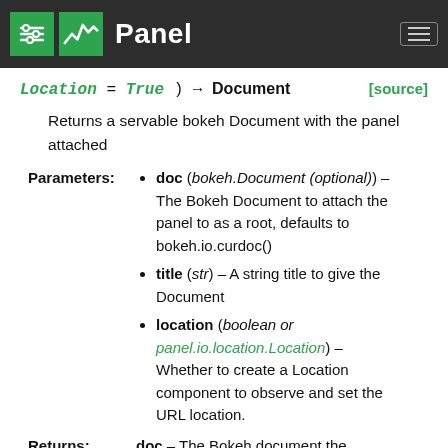Panel
Location = True) → Document [source]
Returns a servable bokeh Document with the panel attached
doc (bokeh.Document (optional)) – The Bokeh Document to attach the panel to as a root, defaults to bokeh.io.curdoc()
title (str) – A string title to give the Document
location (boolean or panel.io.location.Location) – Whether to create a Location component to observe and set the URL location.
Returns: doc – The Bokeh document the